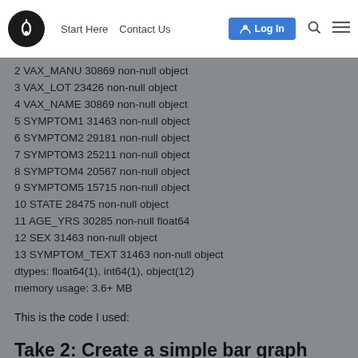Start Here  Contact Us  Log In
2 VAX_MANU 30869 non-null object
3 VAX_LOT 23426 non-null object
4 VAX_NAME 30869 non-null object
5 SYMPTOM1 31463 non-null object
6 SYMPTOM2 29181 non-null object
7 SYMPTOM3 25211 non-null object
8 SYMPTOM4 20567 non-null object
9 SYMPTOM5 15715 non-null object
10 STATE 28475 non-null object
11 AGE_YRS 30285 non-null float64
12 SEX 31463 non-null object
13 SYMPTOM_TEXT 31463 non-null object
dtypes: float64(1), int64(1), object(12)
memory usage: 3.6+ MB
This is the code I used:
Take 2: Create a simple bar graph comparing...